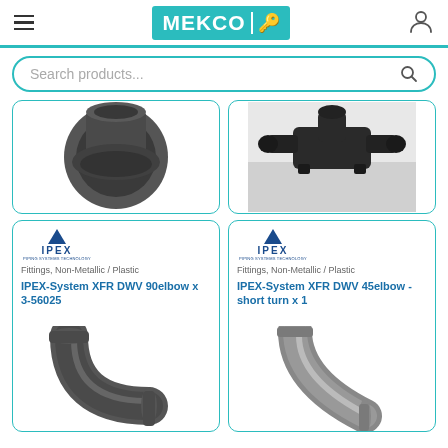MEKCO [logo]
Search products...
[Figure (photo): Dark grey plastic pipe fitting / reducer coupling, partially visible]
[Figure (photo): Dark black plastic pipe fittings cluster on white background, partially visible]
[Figure (logo): IPEX brand logo with blue triangle and text]
Fittings, Non-Metallic / Plastic
IPEX-System XFR DWV 90elbow x 3-56025
[Figure (photo): Dark grey plastic 90-degree elbow pipe fitting, partially visible at bottom]
[Figure (logo): IPEX brand logo with blue triangle and text]
Fittings, Non-Metallic / Plastic
IPEX-System XFR DWV 45elbow -short turn x 1
[Figure (photo): Light grey plastic 45-degree elbow pipe fitting, partially visible at bottom]